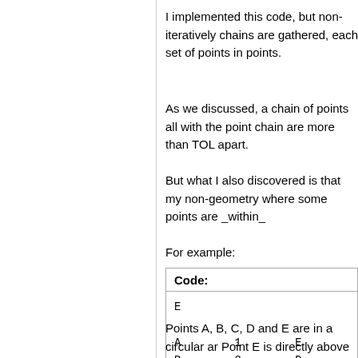I implemented this code, but non-iteratively chains are gathered, each set of points in points.
As we discussed, a chain of points all with the point chain are more than TOL apart.
But what I also discovered is that my non- geometry where some points are _within_
For example:
Code:
E

A        1        E
B        2        D

         C
Points A, B, C, D and E are in a circular ar Point E is directly above C, such that the